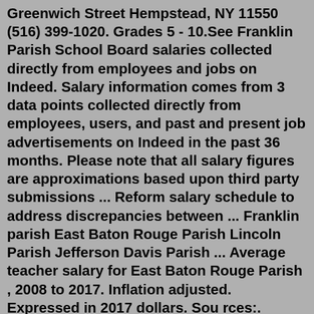Greenwich Street Hempstead, NY 11550 (516) 399-1020. Grades 5 - 10.See Franklin Parish School Board salaries collected directly from employees and jobs on Indeed. Salary information comes from 3 data points collected directly from employees, users, and past and present job advertisements on Indeed in the past 36 months. Please note that all salary figures are approximations based upon third party submissions ... Reform salary schedule to address discrepancies between ... Franklin parish East Baton Rouge Parish Lincoln Parish Jefferson Davis Parish ... Average teacher salary for East Baton Rouge Parish , 2008 to 2017. Inflation adjusted. Expressed in 2017 dollars. Sou rces:. Benjamin Franklin High School's teachers plan to unionize, becoming the second charter school faculty in the city to do so. More than 85 percent of >Franklin's teaching staff petitioned the administration and the school's board Wednesday afternoon, according to a statement from the United Teachers of New Orleans, who will assist them in their efforts. The average starting salary for a teacher with